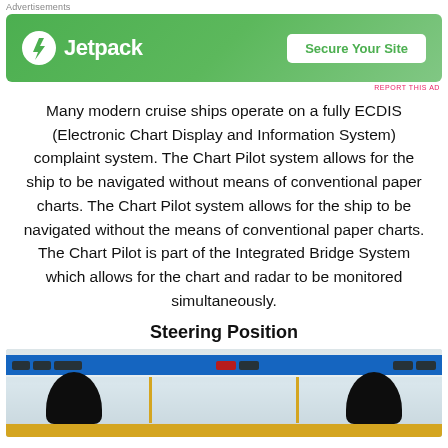Advertisements
[Figure (other): Jetpack advertisement banner with green background, Jetpack logo and lightning bolt icon on left, 'Secure Your Site' button on right]
Many modern cruise ships operate on a fully ECDIS (Electronic Chart Display and Information System) complaint system. The Chart Pilot system allows for the ship to be navigated without means of conventional paper charts. The Chart Pilot system allows for the ship to be navigated without the means of conventional paper charts. The Chart Pilot is part of the Integrated Bridge System which allows for the chart and radar to be monitored simultaneously.
Steering Position
[Figure (photo): Interior photo of a cruise ship bridge/steering position showing navigation equipment panel with blue instrument bar at top, two black captain's chairs/seats visible at bottom, gold/brass trim details, and windows in background]